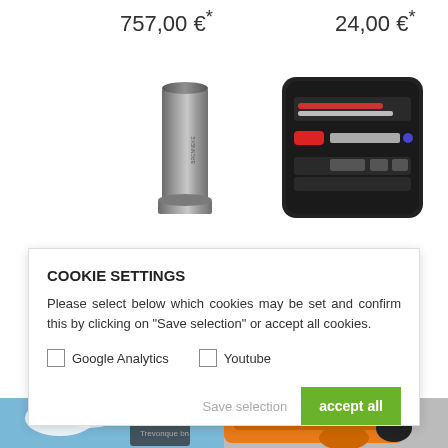757,00 €*
24,00 €*
[Figure (photo): A metallic cylindrical cartridge/shell casing standing upright]
[Figure (photo): A black case/kit containing pen-like tools, a red cylinder, and small accessories on foam padding]
COOKIE SETTINGS
Please select below which cookies may be set and confirm this by clicking on "Save selection" or accept all cookies.
Google Analytics
Youtube
Save selection
accept all
[Figure (photo): Bottom strip showing outdoor sky scene and partial orange object/gun]
[Figure (photo): Bottom right strip showing partial orange colored pistol/gun]